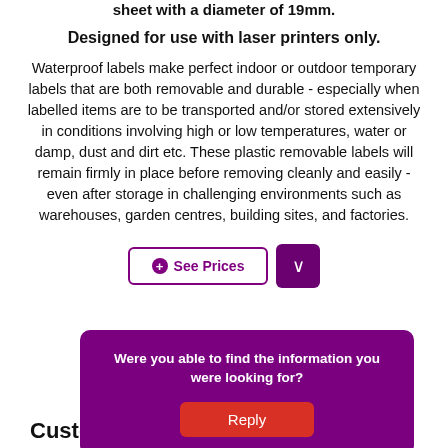sheet with a diameter of 19mm.
Designed for use with laser printers only.
Waterproof labels make perfect indoor or outdoor temporary labels that are both removable and durable - especially when labelled items are to be transported and/or stored extensively in conditions involving high or low temperatures, water or damp, dust and dirt etc. These plastic removable labels will remain firmly in place before removing cleanly and easily - even after storage in challenging environments such as warehouses, garden centres, building sites, and factories.
[Figure (screenshot): See Prices button with purple border and dropdown arrow button]
[Figure (screenshot): Purple popup overlay asking 'Were you able to find the information you were looking for?' with a red Reply button]
Custom